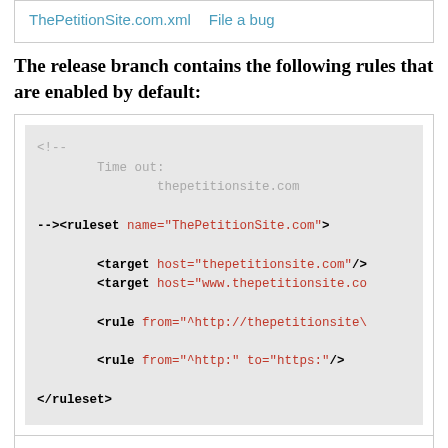ThePetitionSite.com.xml   File a bug
The release branch contains the following rules that are enabled by default:
[Figure (screenshot): XML code block showing ruleset definition for ThePetitionSite.com with comment 'Time out: thepetitionsite.com', ruleset tag, two target tags, and two rule tags]
ThePetitionSite.com.xml   File a bug